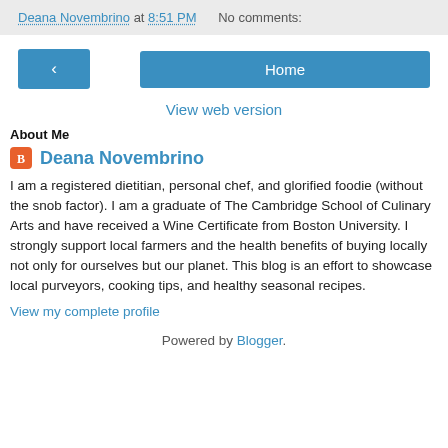Deana Novembrino at 8:51 PM    No comments:
[Figure (other): Navigation buttons: back arrow button and Home button]
View web version
About Me
Deana Novembrino
I am a registered dietitian, personal chef, and glorified foodie (without the snob factor). I am a graduate of The Cambridge School of Culinary Arts and have received a Wine Certificate from Boston University. I strongly support local farmers and the health benefits of buying locally not only for ourselves but our planet. This blog is an effort to showcase local purveyors, cooking tips, and healthy seasonal recipes.
View my complete profile
Powered by Blogger.